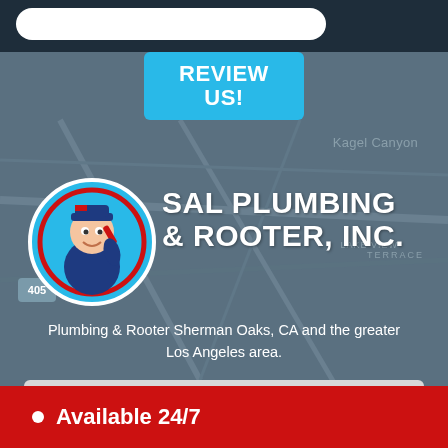[Figure (screenshot): Mobile app screenshot showing Sal Plumbing & Rooter, Inc. business listing with logo, phone number, address, and available 24/7 banner over a map background]
REVIEW US!
Kagel Canyon
SAL PLUMBING & ROOTER, INC.
Plumbing & Rooter Sherman Oaks, CA and the greater Los Angeles area.
818-574-8522
13351 Riverside Dr #414
Sherman Oaks, CA 91423
Available 24/7